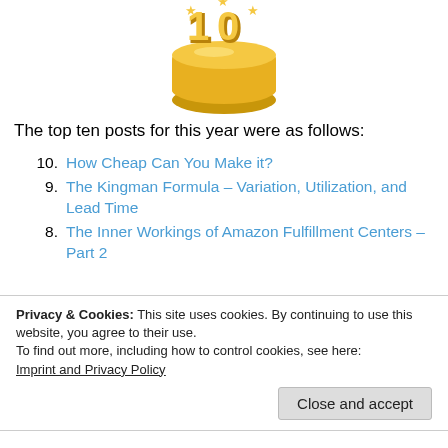[Figure (illustration): Gold 3D trophy/coin with number 10 on top, partially cropped at top]
The top ten posts for this year were as follows:
10. How Cheap Can You Make it?
9. The Kingman Formula – Variation, Utilization, and Lead Time
8. The Inner Workings of Amazon Fulfillment Centers – Part 2
Privacy & Cookies: This site uses cookies. By continuing to use this website, you agree to their use.
To find out more, including how to control cookies, see here:
Imprint and Privacy Policy
4. What Exactly Is Jidoka?